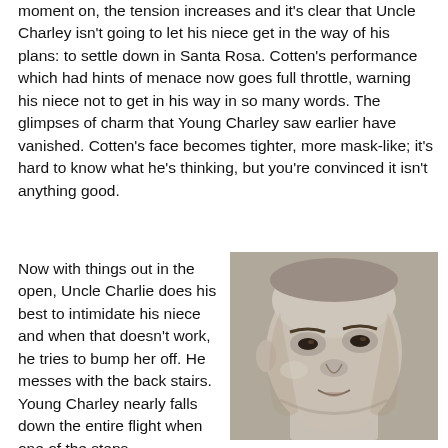moment on, the tension increases and it's clear that Uncle Charley isn't going to let his niece get in the way of his plans: to settle down in Santa Rosa. Cotten's performance which had hints of menace now goes full throttle, warning his niece not to get in his way in so many words. The glimpses of charm that Young Charley saw earlier have vanished. Cotten's face becomes tighter, more mask-like; it's hard to know what he's thinking, but you're convinced it isn't anything good.
Now with things out in the open, Uncle Charlie does his best to intimidate his niece and when that doesn't work, he tries to bump her off. He messes with the back stairs. Young Charley nearly falls down the entire flight when one of the steps
[Figure (photo): Black and white close-up photograph of a man's face — Uncle Charlie — with a stern, threatening expression, looking slightly downward.]
“…or are they fat, wheezing animals?”